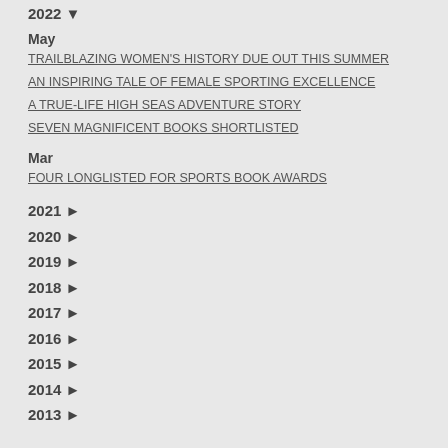2022 ▼
May
TRAILBLAZING WOMEN'S HISTORY DUE OUT THIS SUMMER
AN INSPIRING TALE OF FEMALE SPORTING EXCELLENCE
A TRUE-LIFE HIGH SEAS ADVENTURE STORY
SEVEN MAGNIFICENT BOOKS SHORTLISTED
Mar
FOUR LONGLISTED FOR SPORTS BOOK AWARDS
2021 ►
2020 ►
2019 ►
2018 ►
2017 ►
2016 ►
2015 ►
2014 ►
2013 ►